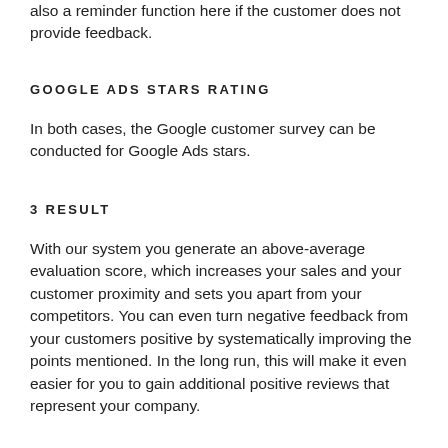also a reminder function here if the customer does not provide feedback.
GOOGLE ADS STARS RATING
In both cases, the Google customer survey can be conducted for Google Ads stars.
3 RESULT
With our system you generate an above-average evaluation score, which increases your sales and your customer proximity and sets you apart from your competitors. You can even turn negative feedback from your customers positive by systematically improving the points mentioned. In the long run, this will make it even easier for you to gain additional positive reviews that represent your company.